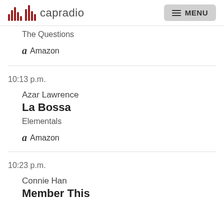capradio MENU
The Questions
Amazon
10:13 p.m.
Azar Lawrence
La Bossa
Elementals
Amazon
10:23 p.m.
Connie Han
Member This